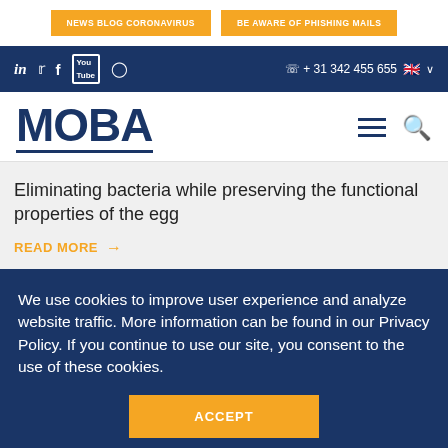NEWS BLOG CORONAVIRUS | BE AWARE OF PHISHING MAILS
in, twitter, facebook, YouTube, Instagram | + 31 342 455 655
MOBA
Eliminating bacteria while preserving the functional properties of the egg
READ MORE →
We use cookies to improve user experience and analyze website traffic. More information can be found in our Privacy Policy. If you continue to use our site, you consent to the use of these cookies.
ACCEPT